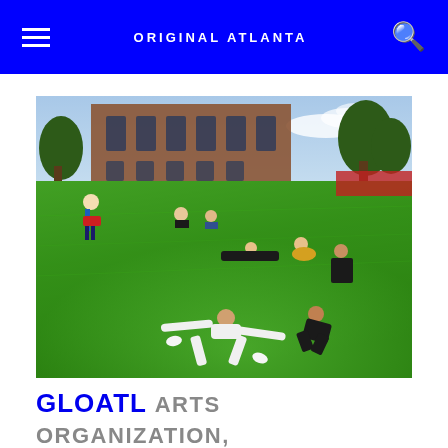ORIGINAL ATLANTA
[Figure (photo): Outdoor photo of dancers and people on a green lawn in front of a brick building. One person in white is lying spread-eagled on the grass in the foreground, others are scattered around in various positions on the sloped lawn.]
GLOATL ARTS ORGANIZATION, DANCE COMPANY 🏆